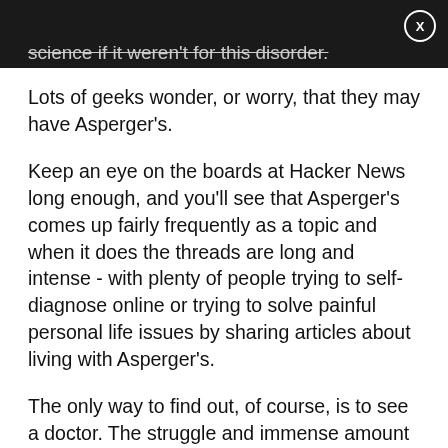science if it weren't for this disorder.
Lots of geeks wonder, or worry, that they may have Asperger's.
Keep an eye on the boards at Hacker News long enough, and you'll see that Asperger's comes up fairly frequently as a topic and when it does the threads are long and intense - with plenty of people trying to self-diagnose online or trying to solve painful personal life issues by sharing articles about living with Asperger's.
The only way to find out, of course, is to see a doctor. The struggle and immense amount of work it takes to fit in within tech culture is not to be